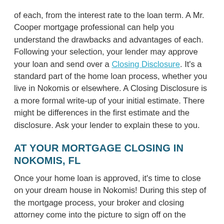of each, from the interest rate to the loan term. A Mr. Cooper mortgage professional can help you understand the drawbacks and advantages of each. Following your selection, your lender may approve your loan and send over a Closing Disclosure. It's a standard part of the home loan process, whether you live in Nokomis or elsewhere. A Closing Disclosure is a more formal write-up of your initial estimate. There might be differences in the first estimate and the disclosure. Ask your lender to explain these to you.
AT YOUR MORTGAGE CLOSING IN NOKOMIS, FL
Once your home loan is approved, it's time to close on your dream house in Nokomis! During this step of the mortgage process, your broker and closing attorney come into the picture to sign off on the closing costs. Depending on your state, you may also be required to work with a closing attorney in Nokomis who will schedule a time with you to sign your loan documents. Even if paperwork takes longer than expected, you don't have to stress over your closing date being delayed. We guarantee we'll close